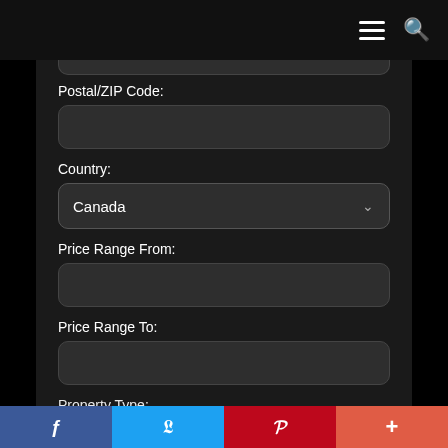[Figure (screenshot): Mobile navigation bar with hamburger menu and search icon on dark background]
Postal/ZIP Code:
[Figure (other): Empty text input field for Postal/ZIP Code]
Country:
[Figure (other): Dropdown select field showing 'Canada' with chevron arrow]
Price Range From:
[Figure (other): Empty text input field for Price Range From]
Price Range To:
[Figure (other): Empty text input field for Price Range To]
Property Type:
[Figure (other): Social share bar with Facebook, Twitter, Pinterest, and plus buttons]